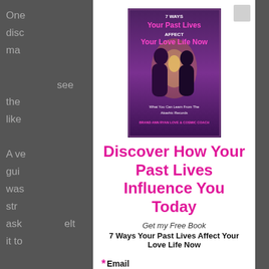One disc ma see the like A ve gui was str ask elt it to We nd tol app
[Figure (illustration): Book cover: '7 Ways Your Past Lives Affect Your Love Life Now - What You Can Learn From The Akashic Records']
Discover How Your Past Lives Influence You Today
Get my Free Book
7 Ways Your Past Lives Affect Your Love Life Now
*Email